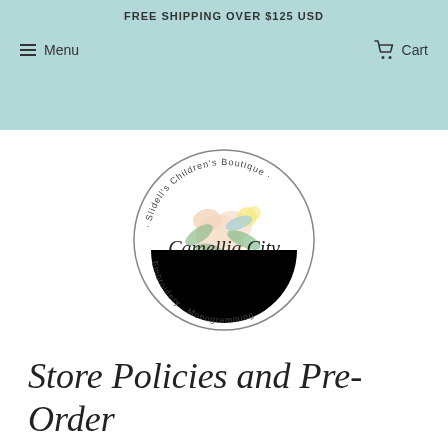FREE SHIPPING OVER $125 USD
Menu   Cart
[Figure (logo): Circular logo for Camellia City Blanks & Smocks — Slidell's Children's Boutique, Embroidery & Monogramming, with floral watercolor design]
Store Policies and Pre-Order Procedures